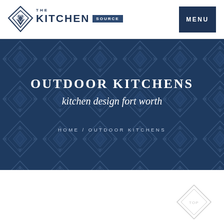THE KITCHEN SOURCE | MENU
OUTDOOR KITCHENS
kitchen design fort worth
HOME / OUTDOOR KITCHENS
[Figure (logo): The Kitchen Source diamond logo with navigation menu button]